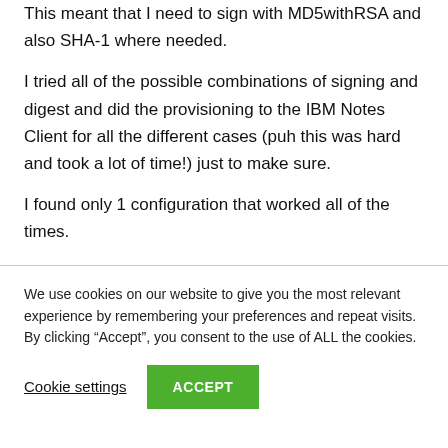This meant that I need to sign with MD5withRSA and also SHA-1 where needed. I tried all of the possible combinations of signing and digest and did the provisioning to the IBM Notes Client for all the different cases (puh this was hard and took a lot of time!) just to make sure. I found only 1 configuration that worked all of the times.
We use cookies on our website to give you the most relevant experience by remembering your preferences and repeat visits. By clicking “Accept”, you consent to the use of ALL the cookies.
Cookie settings
ACCEPT